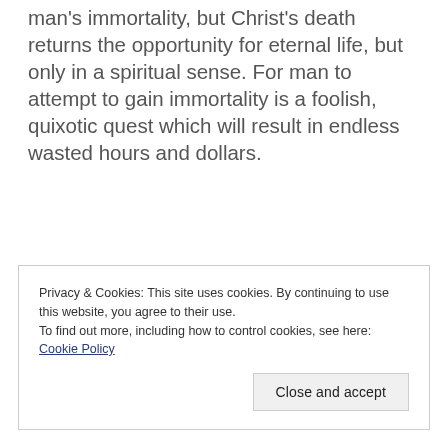man's immortality, but Christ's death returns the opportunity for eternal life, but only in a spiritual sense. For man to attempt to gain immortality is a foolish, quixotic quest which will result in endless wasted hours and dollars.
Privacy & Cookies: This site uses cookies. By continuing to use this website, you agree to their use. To find out more, including how to control cookies, see here: Cookie Policy